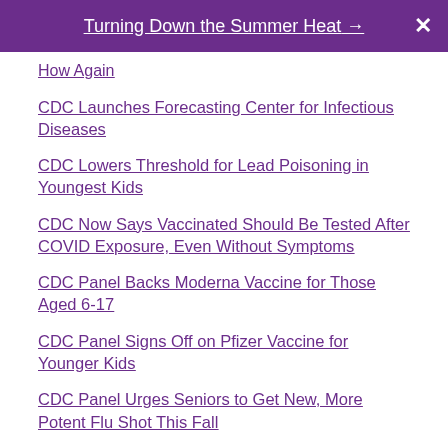Turning Down the Summer Heat →
How Again
CDC Launches Forecasting Center for Infectious Diseases
CDC Lowers Threshold for Lead Poisoning in Youngest Kids
CDC Now Says Vaccinated Should Be Tested After COVID Exposure, Even Without Symptoms
CDC Panel Backs Moderna Vaccine for Those Aged 6-17
CDC Panel Signs Off on Pfizer Vaccine for Younger Kids
CDC Panel Urges Seniors to Get New, More Potent Flu Shot This Fall
CDC Pushes Hard on Vaccination for Pregnant Women in New Advisory
CDC Reports First American With New Bird Flu, Says Risk to Public Low